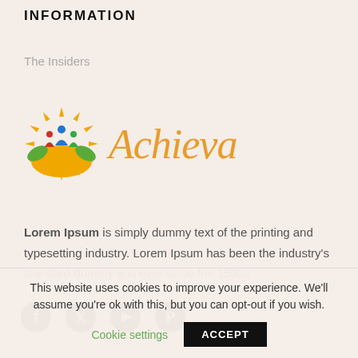INFORMATION
The Insiders
[Figure (logo): Achieva logo: colorful sun/flower emblem with people figures and italic orange 'Achieva' text]
Lorem Ipsum is simply dummy text of the printing and typesetting industry. Lorem Ipsum has been the industry's standard dummy text ever since the 1500s
[Figure (infographic): Four social media icons: Facebook, Twitter, YouTube, Pinterest]
This website uses cookies to improve your experience. We'll assume you're ok with this, but you can opt-out if you wish.
Cookie settings    ACCEPT